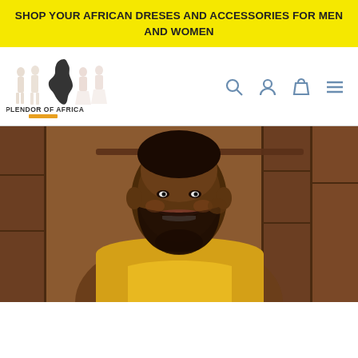SHOP YOUR AFRICAN DRESES AND ACCESSORIES FOR MEN AND WOMEN
[Figure (logo): Splendor of Africa logo with fashion figures and African continent silhouette]
[Figure (photo): Smiling man wearing a yellow African top, photographed in front of a wooden background]